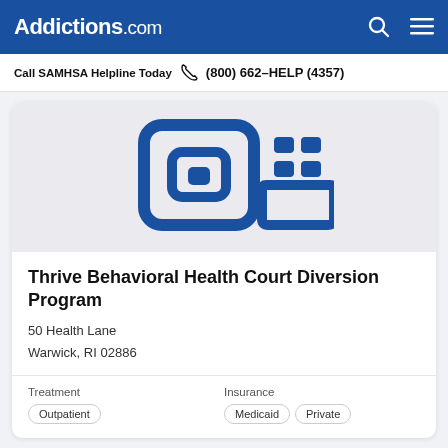Addictions.com
Call SAMHSA Helpline Today  (800) 662-HELP (4357)
[Figure (logo): Addictions.com facility logo placeholder — blue building/house icon on light gray background]
Thrive Behavioral Health Court Diversion Program
50 Health Lane
Warwick, RI 02886
Treatment
Outpatient
Insurance
Medicaid  Private